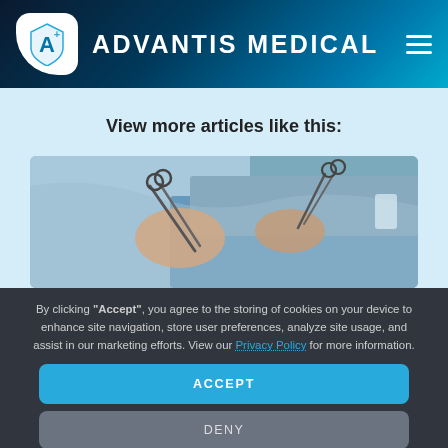ADVANTIS MEDICAL
View more articles like this:
[Figure (photo): Medical professional in surgical scrubs holding surgical instruments (clamps/forceps) during a procedure]
By clicking "Accept", you agree to the storing of cookies on your device to enhance site navigation, store user preferences, analyze site usage, and assist in our marketing efforts. View our Privacy Policy for more information.
ACCEPT
DENY
Preferences